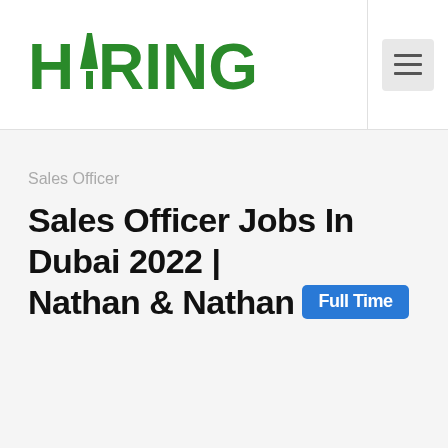[Figure (logo): HiRING logo in green with a tie icon on the letter I]
[Figure (other): Hamburger menu button (three horizontal lines) in a light grey rounded square]
Sales Officer
Sales Officer Jobs In Dubai 2022 | Nathan & Nathan
Full Time